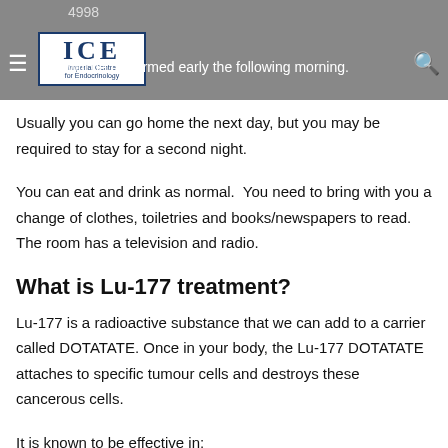4998 | The [logo] will be performed early the following morning.
Usually you can go home the next day, but you may be required to stay for a second night.
You can eat and drink as normal.  You need to bring with you a change of clothes, toiletries and books/newspapers to read.  The room has a television and radio.
What is Lu-177 treatment?
Lu-177 is a radioactive substance that we can add to a carrier called DOTATATE. Once in your body, the Lu-177 DOTATATE attaches to specific tumour cells and destroys these cancerous cells.
It is known to be effective in:
neuroendocrine tumours